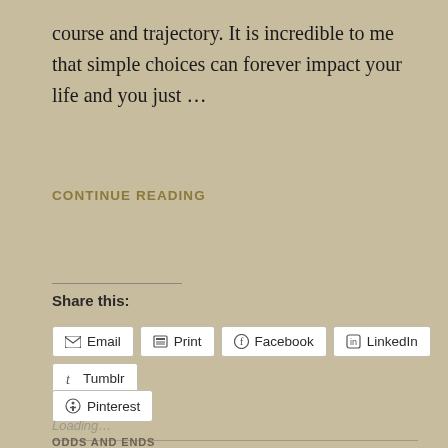course and trajectory. It is incredible to me that simple choices can forever impact your life and you just …
CONTINUE READING
Share this:
Email   Print   Facebook   LinkedIn   Tumblr
Pinterest
Loading...
ODDS AND ENDS